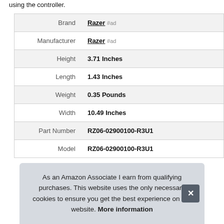using the controller.
| Brand | Razer #ad |
| Manufacturer | Razer #ad |
| Height | 3.71 Inches |
| Length | 1.43 Inches |
| Weight | 0.35 Pounds |
| Width | 10.49 Inches |
| Part Number | RZ06-02900100-R3U1 |
| Model | RZ06-02900100-R3U1 |
As an Amazon Associate I earn from qualifying purchases. This website uses the only necessary cookies to ensure you get the best experience on our website. More information